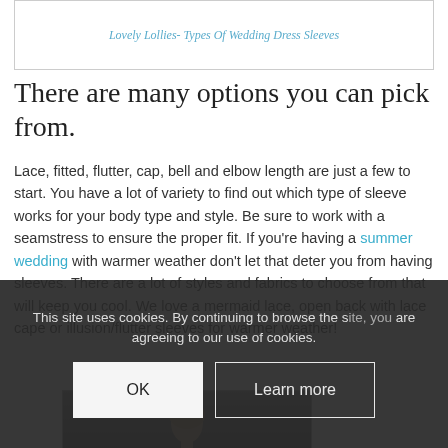Lovely Lollies- Types Of Wedding Dress Sleeves
There are many options you can pick from.
Lace, fitted, flutter, cap, bell and elbow length are just a few to start. You have a lot of variety to find out which type of sleeve works for your body type and style. Be sure to work with a seamstress to ensure the proper fit. If you're having a summer wedding with warmer weather don't let that deter you from having sleeves. There are a lot of styles and fabrics to choose from that will keep you cool. We love a mermaid lace, open back with lace cape or illusion/flutter sleeves for warmer weather!
[Figure (photo): Photo of a woman in a dark dress against a dark grey background]
This site uses cookies. By continuing to browse the site, you are agreeing to our use of cookies.